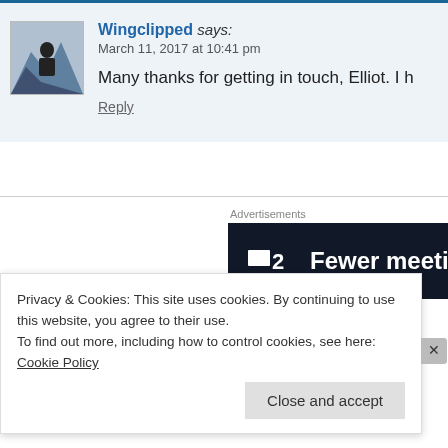Wingclipped says: March 11, 2017 at 10:41 pm
Many thanks for getting in touch, Elliot. I h
Reply
[Figure (other): Advertisement banner: dark background with P2 logo and text 'Fewer meetings, more']
finntheinfinncible says:
Privacy & Cookies: This site uses cookies. By continuing to use this website, you agree to their use.
To find out more, including how to control cookies, see here: Cookie Policy
Close and accept